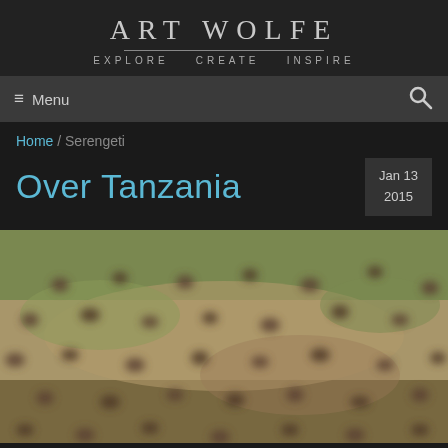ART WOLFE
EXPLORE  CREATE  INSPIRE
≡ Menu
Home / Serengeti
Over Tanzania
Jan 13 2015
[Figure (photo): Aerial photograph of wildebeest or similar animals scattered across the Serengeti plains, viewed from above. The landscape shows dry grassland with patches of green vegetation. Animals appear as small brown shapes spread across the terrain.]